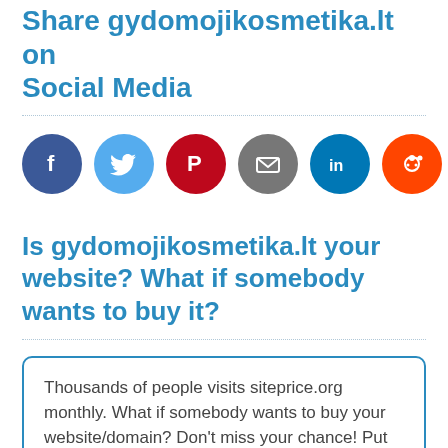Share gydomojikosmetika.lt on Social Media
[Figure (infographic): Row of 7 social media share icon circles: Facebook (dark blue, f), Twitter (light blue, bird), Pinterest (red, p), Email (gray, envelope), LinkedIn (dark teal, in), Reddit (orange, alien), Share (green, share icon)]
Is gydomojikosmetika.lt your website? What if somebody wants to buy it?
Thousands of people visits siteprice.org monthly. What if somebody wants to buy your website/domain? Don't miss your chance! Put our widget into your website so people can be aware about your website worth and you may sell your website or domain name. It is free and easy.